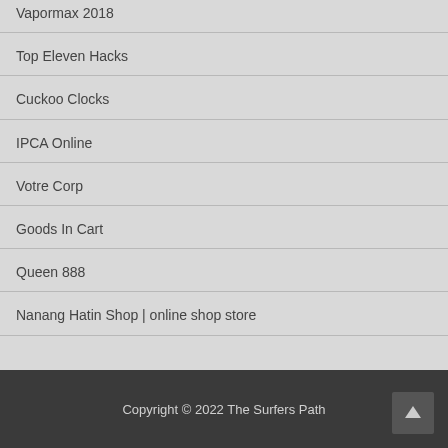Vapormax 2018
Top Eleven Hacks
Cuckoo Clocks
IPCA Online
Votre Corp
Goods In Cart
Queen 888
Nanang Hatin Shop | online shop store
Copyright © 2022 The Surfers Path